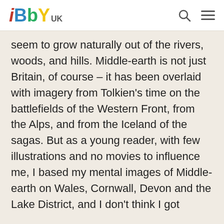iBbY UK
seem to grow naturally out of the rivers, woods, and hills. Middle-earth is not just Britain, of course – it has been overlaid with imagery from Tolkien's time on the battlefields of the Western Front, from the Alps, and from the Iceland of the sagas. But as a young reader, with few illustrations and no movies to influence me, I based my mental images of Middle-earth on Wales, Cornwall, Devon and the Lake District, and I don't think I got